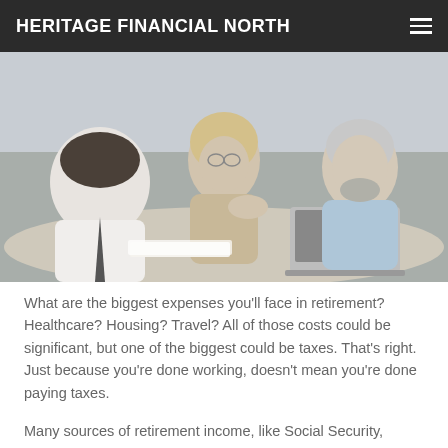HERITAGE FINANCIAL NORTH
[Figure (photo): Photo of an older couple sitting across a table from a financial advisor, engaged in discussion. The advisor is seen from behind, and the couple appears to be reviewing documents. A laptop is open on the table.]
What are the biggest expenses you'll face in retirement? Healthcare? Housing? Travel? All of those costs could be significant, but one of the biggest could be taxes. That's right. Just because you're done working, doesn't mean you're done paying taxes.
Many sources of retirement income, like Social Security,